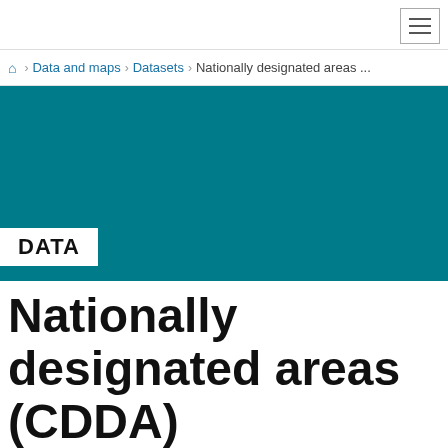☰ navigation menu
🏠 > Data and maps > Datasets > Nationally designated areas ...
[Figure (other): Teal/green banner background image area]
DATA
Nationally designated areas (CDDA)